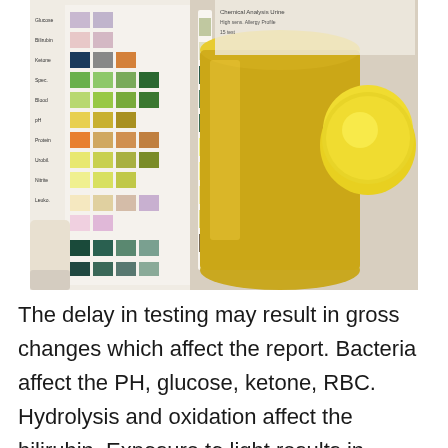[Figure (photo): Photo of urinalysis dipstick test strips being compared against a color reference chart, with a urine specimen cup containing yellow urine and a yellow specimen cup lid visible in the background.]
The delay in testing may result in gross changes which affect the report. Bacteria affect the PH, glucose, ketone, RBC. Hydrolysis and oxidation affect the bilirubin. Exposure to light results in photodegradation of bilirubin, urobilinogen.